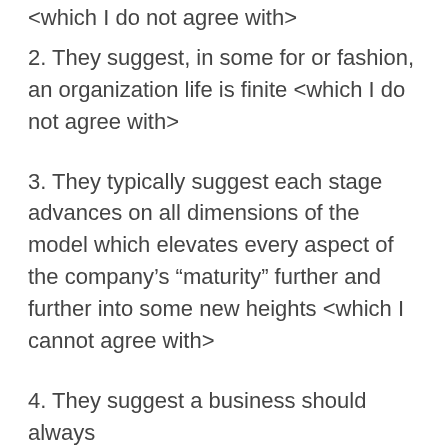<which I do not agree with>
2. They suggest, in some for or fashion, an organization life is finite <which I do not agree with>
3. They typically suggest each stage advances on all dimensions of the model which elevates every aspect of the company’s “maturity” further and further into some new heights <which I cannot agree with>
4. They suggest a business should always